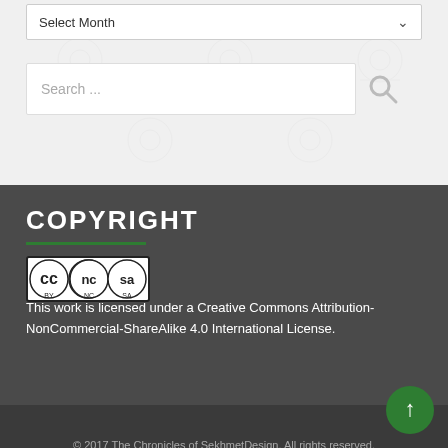Select Month
Search ...
COPYRIGHT
[Figure (logo): Creative Commons BY-NC-SA license badge]
This work is licensed under a Creative Commons Attribution-NonCommercial-ShareAlike 4.0 International License.
© 2017 The Chronicles of SekhmetDesign. All rights reserved. Theme by Modern WP Themes